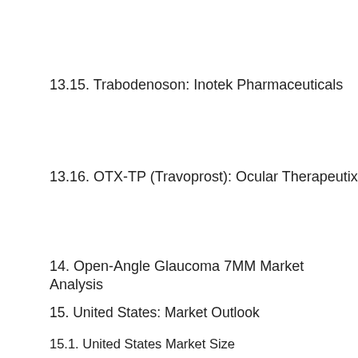13.15. Trabodenoson: Inotek Pharmaceuticals
13.16. OTX-TP (Travoprost): Ocular Therapeutix
14. Open-Angle Glaucoma 7MM Market Analysis
15. United States: Market Outlook
15.1. United States Market Size